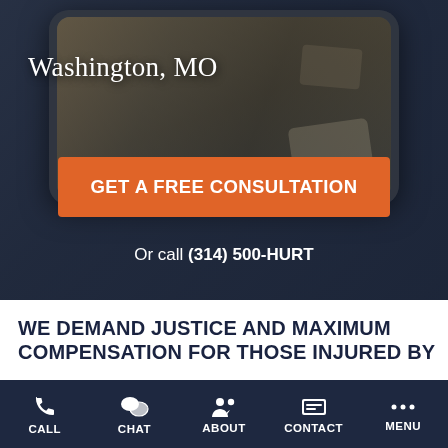[Figure (screenshot): Mobile website screenshot showing a phone displaying a car crash image, with Washington MO location text, an orange GET A FREE CONSULTATION button, and a phone number call to action]
Washington, MO
GET A FREE CONSULTATION
Or call (314) 500-HURT
WE DEMAND JUSTICE AND MAXIMUM COMPENSATION FOR THOSE INJURED BY
CALL  CHAT  ABOUT  CONTACT  MENU